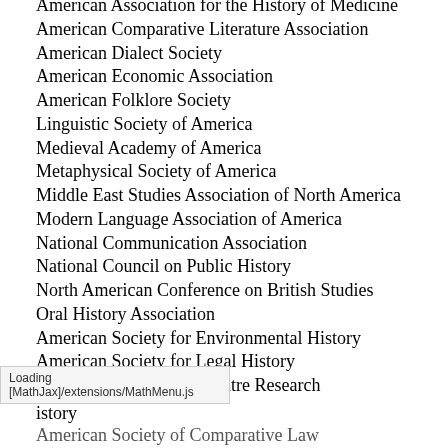American Association for the History of Medicine
American Comparative Literature Association
American Dialect Society
American Economic Association
American Folklore Society
Linguistic Society of America
Medieval Academy of America
Metaphysical Society of America
Middle East Studies Association of North America
Modern Language Association of America
National Communication Association
National Council on Public History
North American Conference on British Studies
Oral History Association
American Society for Environmental History
American Society for Legal History
American Society for Theatre Research
American Society for Ethnohistory
American Society of Comparative Law